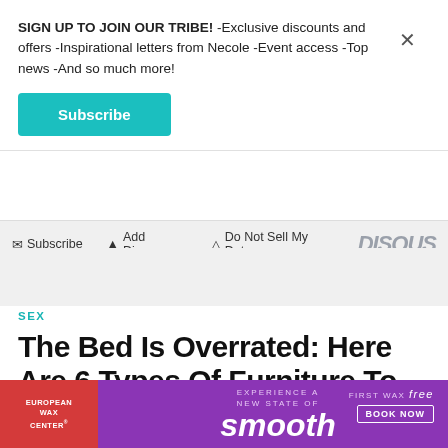SIGN UP TO JOIN OUR TRIBE! -Exclusive discounts and offers -Inspirational letters from Necole -Event access -Top news -And so much more!
Subscribe
Subscribe  Add Disqus  Do Not Sell My Data  DISQUS
SEX
The Bed Is Overrated: Here Are 6 Types Of Furniture To Have Sex On Instead
ALIYAH MOORE  7H
[Figure (infographic): European Wax Center advertisement banner: red section on left with 'EUROPEAN WAX CENTER' text, purple section with 'EXPERIENCE A NEW STATE OF smooth' and 'FIRST WAX free BOOK NOW' on right]